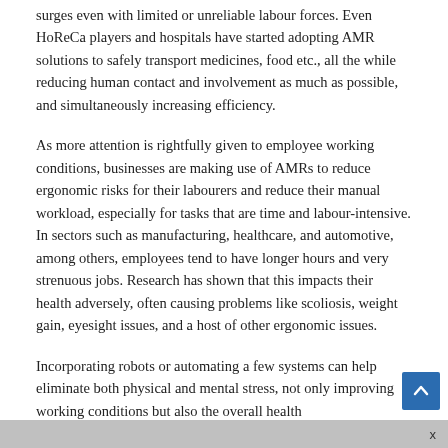surges even with limited or unreliable labour forces. Even HoReCa players and hospitals have started adopting AMR solutions to safely transport medicines, food etc., all the while reducing human contact and involvement as much as possible, and simultaneously increasing efficiency.
As more attention is rightfully given to employee working conditions, businesses are making use of AMRs to reduce ergonomic risks for their labourers and reduce their manual workload, especially for tasks that are time and labour-intensive. In sectors such as manufacturing, healthcare, and automotive, among others, employees tend to have longer hours and very strenuous jobs. Research has shown that this impacts their health adversely, often causing problems like scoliosis, weight gain, eyesight issues, and a host of other ergonomic issues.
Incorporating robots or automating a few systems can help eliminate both physical and mental stress, not only improving working conditions but also the overall health
x